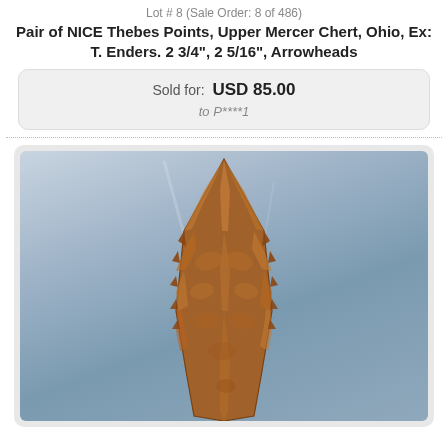Lot # 8 (Sale Order: 8 of 486)
Pair of NICE Thebes Points, Upper Mercer Chert, Ohio, Ex: T. Enders. 2 3/4", 2 5/16", Arrowheads
Sold for: USD 85.00
to P****1
[Figure (photo): Close-up photograph of a Thebes point (arrowhead) made of Upper Mercer Chert, showing detailed flaking on a blue-gray background.]